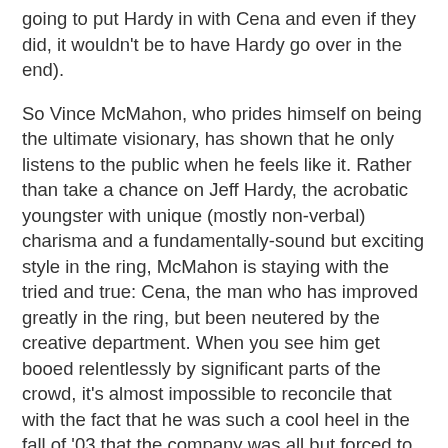going to put Hardy in with Cena and even if they did, it wouldn't be to have Hardy go over in the end).
So Vince McMahon, who prides himself on being the ultimate visionary, has shown that he only listens to the public when he feels like it. Rather than take a chance on Jeff Hardy, the acrobatic youngster with unique (mostly non-verbal) charisma and a fundamentally-sound but exciting style in the ring, McMahon is staying with the tried and true: Cena, the man who has improved greatly in the ring, but been neutered by the creative department. When you see him get booed relentlessly by significant parts of the crowd, it's almost impossible to reconcile that with the fact that he was such a cool heel in the fall of '03 that the company was all but forced to turn him. Young males, perhaps the most critical part of the fanbase, boo him in significant fashion (especially in major markets) because he is seen as having the worst characteristics of Hogan (Chain Gang = Hulkamanics 2K8), Backlund (wholesome character over the last few years, none of those raunchy raps that got him over with the crowd), the Rock'n'Roll Express (annoyingly beloved by kiddies and teenyboppers) and Hogan/Backlund together (he's the face who isn't believable in terms of being in